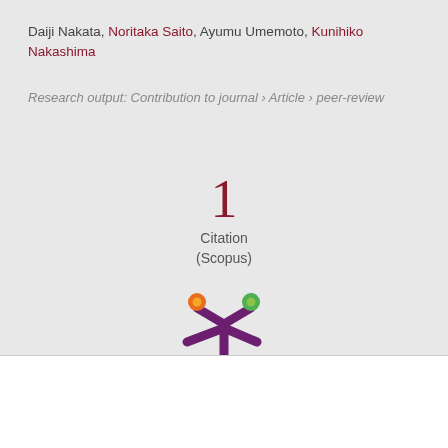Daiji Nakata, Noritaka Saito, Ayumu Umemoto, Kunihiko Nakashima
Research output: Contribution to journal › Article › peer-review
1
Citation
(Scopus)
[Figure (logo): Altmetric logo — purple asterisk/snowflake shape with orange and green dots above]
We use cookies to analyse and improve our service. Cookie Policy